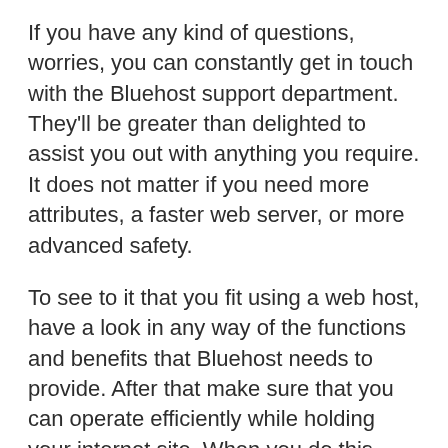If you have any kind of questions, worries, you can constantly get in touch with the Bluehost support department. They'll be greater than delighted to assist you out with anything you require. It does not matter if you need more attributes, a faster web server, or more advanced safety.
To see to it that you fit using a web host, have a look in any way of the functions and benefits that Bluehost needs to provide. After that make sure that you can operate efficiently while holding your internet site. When you do this, you'll be able to feel confident that your internet site will execute well and also be very easy to run.
Finally, the best means to figure out if...